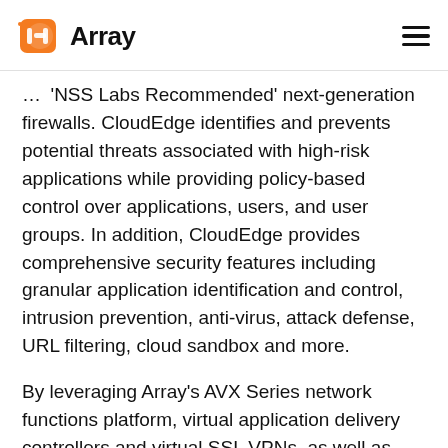Array
'NSS Labs Recommended' next-generation firewalls. CloudEdge identifies and prevents potential threats associated with high-risk applications while providing policy-based control over applications, users, and user groups. In addition, CloudEdge provides comprehensive security features including granular application identification and control, intrusion prevention, anti-virus, attack defense, URL filtering, cloud sandbox and more.
By leveraging Array's AVX Series network functions platform, virtual application delivery controllers and virtual SSL VPNs, as well as